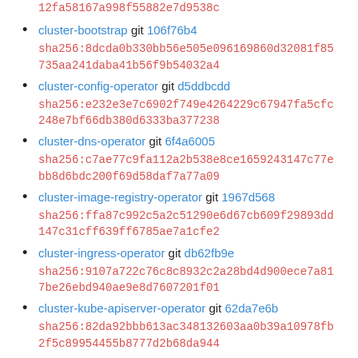12fa58167a998f55882e7d9538c
cluster-bootstrap git 106f76b4 sha256:8dcda0b330bb56e505e096169860d32081f85735aa241daba41b56f9b54032a4
cluster-config-operator git d5ddbcdd sha256:e232e3e7c6902f749e4264229c67947fa5cfc248e7bf66db380d6333ba377238
cluster-dns-operator git 6f4a6005 sha256:c7ae77c9fa112a2b538e8ce1659243147c77ebb8d6bdc200f69d58daf7a77a09
cluster-image-registry-operator git 1967d568 sha256:ffa87c992c5a2c51290e6d67cb609f29893dd147c31cff639ff6785ae7a1cfe2
cluster-ingress-operator git db62fb9e sha256:9107a722c76c8c8932c2a28bd4d900ece7a817be26ebd940ae9e8d7607201f01
cluster-kube-apiserver-operator git 62da7e6b sha256:82da92bbb613ac348132603aa0b39a10978fb2f5c89954455b8777d2b68da944